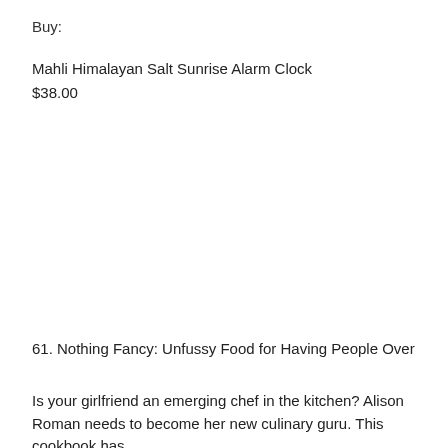Buy:
Mahli Himalayan Salt Sunrise Alarm Clock
$38.00
61. Nothing Fancy: Unfussy Food for Having People Over
Is your girlfriend an emerging chef in the kitchen? Alison Roman needs to become her new culinary guru. This cookbook has